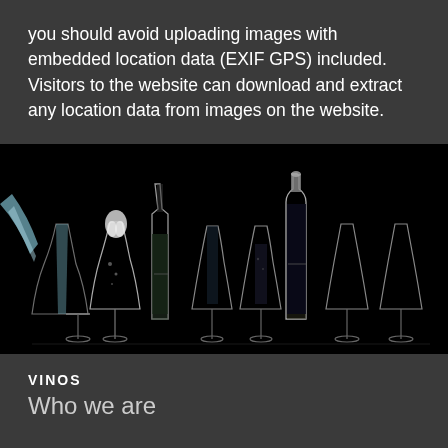you should avoid uploading images with embedded location data (EXIF GPS) included. Visitors to the website can download and extract any location data from images on the website.
[Figure (photo): Dark studio photo of champagne/wine bottles and flutes arranged in a row against a black background, with liquid being poured into the leftmost glass]
VINOS
Who we are